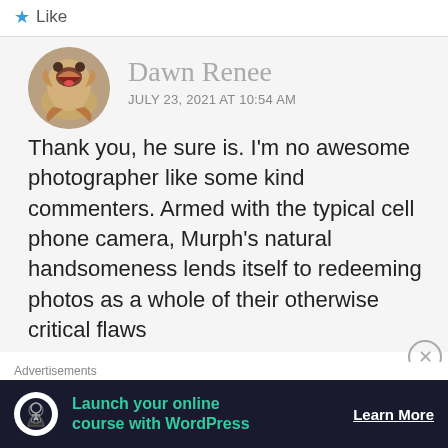★ Like
Dawn Renee
JULY 23, 2021 AT 10:54 AM
Thank you, he sure is. I'm no awesome photographer like some kind commenters. Armed with the typical cell phone camera, Murph's natural handsomeness lends itself to redeeming photos as a whole of their otherwise critical flaws
Advertisements
[Figure (infographic): Dark advertisement banner: circular tree/person icon, text 'Launch your online course with WordPress' in teal, 'Learn More' button in white]